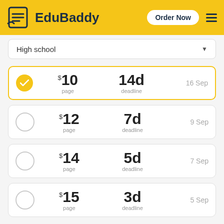EduBaddy — Order Now
High school
$10 / page | 14d deadline | 16 Sep (selected)
$12 / page | 7d deadline | 9 Sep
$14 / page | 5d deadline | 7 Sep
$15 / page | 3d deadline | 5 Sep
$17 / page | 2d deadline | 4 Sep